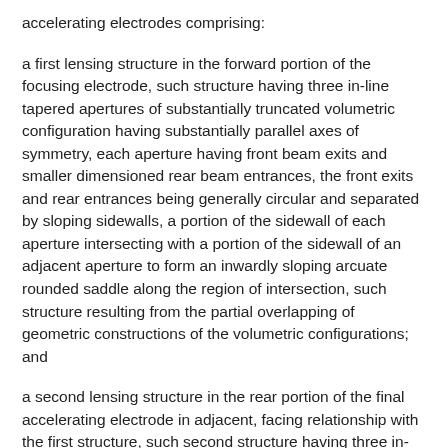accelerating electrodes comprising:
a first lensing structure in the forward portion of the focusing electrode, such structure having three in-line tapered apertures of substantially truncated volumetric configuration having substantially parallel axes of symmetry, each aperture having front beam exits and smaller dimensioned rear beam entrances, the front exits and rear entrances being generally circular and separated by sloping sidewalls, a portion of the sidewall of each aperture intersecting with a portion of the sidewall of an adjacent aperture to form an inwardly sloping arcuate rounded saddle along the region of intersection, such structure resulting from the partial overlapping of geometric constructions of the volumetric configurations; and
a second lensing structure in the rear portion of the final accelerating electrode in adjacent, facing relationship with the first structure, such second structure having three in-line tapered apertures of substantially truncated volumetric configuration having substantially parallel axes of symmetry, each aperture having rear beam entrances and smaller dimensioned front beam exits, the front exits and rear entrances being generally circular and separated by sloping sidewalls,